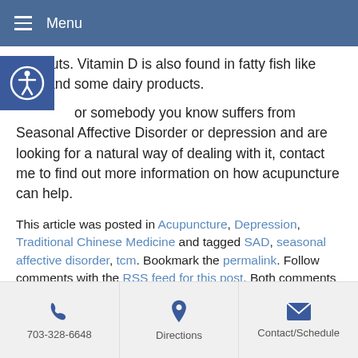Menu
and nuts. Vitamin D is also found in fatty fish like tuna and some dairy products.
or somebody you know suffers from Seasonal Affective Disorder or depression and are looking for a natural way of dealing with it, contact me to find out more information on how acupuncture can help.
This article was posted in Acupuncture, Depression, Traditional Chinese Medicine and tagged SAD, seasonal affective disorder, tcm. Bookmark the permalink. Follow comments with the RSS feed for this post. Both comments and trackbacks are closed.
703-328-6648  Directions  Contact/Schedule